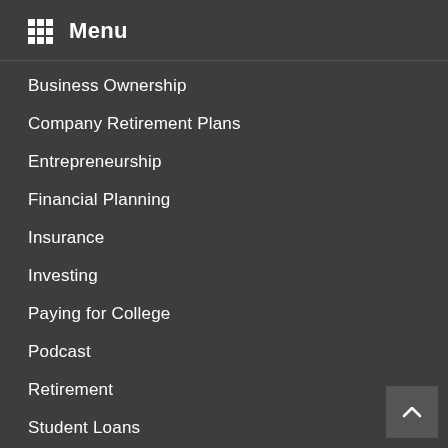Menu
Business Ownership
Company Retirement Plans
Entrepreneurship
Financial Planning
Insurance
Investing
Paying for College
Podcast
Retirement
Student Loans
Succession & Estate Planning
Taxes & Accounting
Uncategorized